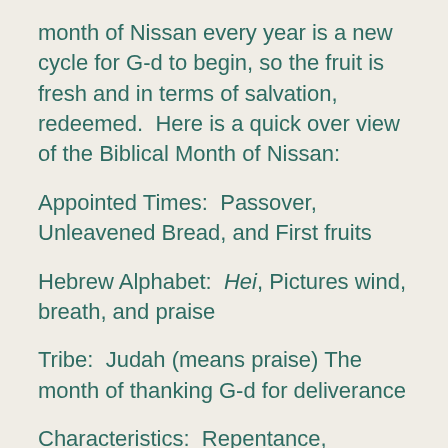month of Nissan every year is a new cycle for G-d to begin, so the fruit is fresh and in terms of salvation, redeemed.  Here is a quick over view of the Biblical Month of Nissan:
Appointed Times:  Passover, Unleavened Bread, and First fruits
Hebrew Alphabet:  Hei, Pictures wind, breath, and praise
Tribe:  Judah (means praise) The month of thanking G-d for deliverance
Characteristics:  Repentance, Redemption, and Restoration of Miracles